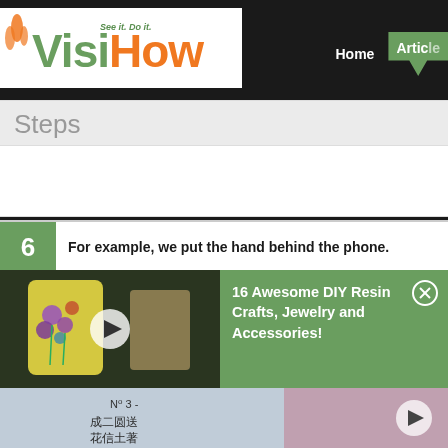VisiHow — See it. Do it. — Home | Articles
Steps
6. For example, we put the hand behind the phone.
[Figure (screenshot): Video thumbnail showing a phone case decorated with pressed flowers (purple and blue flowers on yellow case) with a play button overlay]
[Figure (screenshot): Notification overlay on green background: '16 Awesome DIY Resin Crafts, Jewelry and Accessories!' with close button]
[Figure (screenshot): Bottom row showing a Chinese text document image (No. 3) and a partial thumbnail with play button]